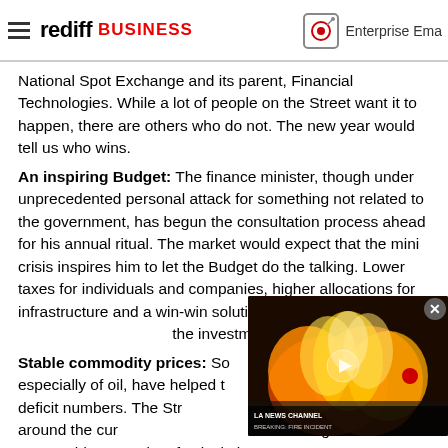rediff BUSINESS | Enterprise Email
National Spot Exchange and its parent, Financial Technologies. While a lot of people on the Street want it to happen, there are others who do not. The new year would tell us who wins.
An inspiring Budget: The finance minister, though under unprecedented personal attack for something not related to the government, has begun the consultation process ahead for his annual ritual. The market would expect that the mini crisis inspires him to let the Budget do the talking. Lower taxes for individuals and companies, higher allocations for infrastructure and a win-win solution for huge corporate debt that could restart the investment cycle might make...
Stable commodity prices: Some commodity prices, especially of oil, have helped the government on the fiscal deficit numbers. The Street would like these prices stabilise around the current levels for a bit, as a strong move either way could upset a lot of calculations.
Rupee below 70: Its depreciating much beyond 70 to a...